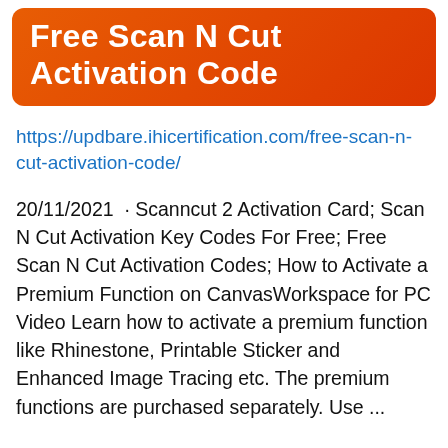Free Scan N Cut Activation Code
https://updbare.ihicertification.com/free-scan-n-cut-activation-code/
20/11/2021  · Scanncut 2 Activation Card; Scan N Cut Activation Key Codes For Free; Free Scan N Cut Activation Codes; How to Activate a Premium Function on CanvasWorkspace for PC Video Learn how to activate a premium function like Rhinestone, Printable Sticker and Enhanced Image Tracing etc. The premium functions are purchased separately. Use ...